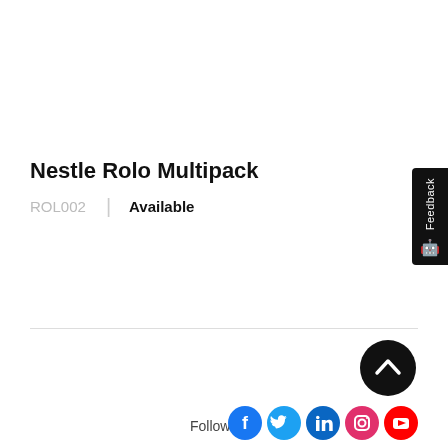Nestle Rolo Multipack
ROL002  |  Available
[Figure (other): Feedback tab widget on the right side of the page]
[Figure (other): Back to top circular button with upward chevron arrow]
Follow
[Figure (other): Social media icons: Facebook, Twitter, LinkedIn, Instagram, YouTube]